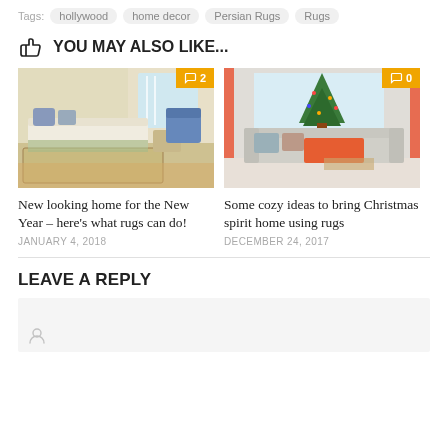Tags: hollywood  home decor  Persian Rugs  Rugs
YOU MAY ALSO LIKE...
[Figure (photo): Bedroom scene with a patterned rug, daybed with floral bedskirt, blue armchair, and side table. Comment badge showing 2.]
New looking home for the New Year – here's what rugs can do!
JANUARY 4, 2018
[Figure (photo): Bright living room with Christmas tree, sofa with orange/red throw blanket, and large windows with orange curtains. Comment badge showing 0.]
Some cozy ideas to bring Christmas spirit home using rugs
DECEMBER 24, 2017
LEAVE A REPLY